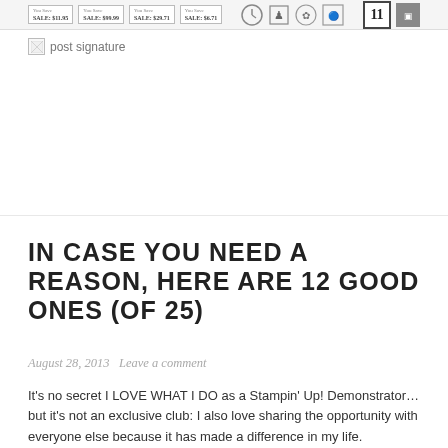[Figure (screenshot): Banner strip showing product thumbnails with sale prices and icons including a clock, chess pieces, calendar number 11, and other stamp-related graphics]
[Figure (illustration): Post signature image placeholder showing small broken image icon with text 'post signature']
IN CASE YOU NEED A REASON, HERE ARE 12 GOOD ONES (OF 25)
August 28, 2013   Leave a comment
It’s no secret I LOVE WHAT I DO as a Stampin’ Up! Demonstrator…but it’s not an exclusive club: I also love sharing the opportunity with everyone else because it has made a difference in my life.
Co-ordinating with the 25th Anniversary of SU! I’m sharing 25 reasons you may want to join my Stampin’ Up! family over